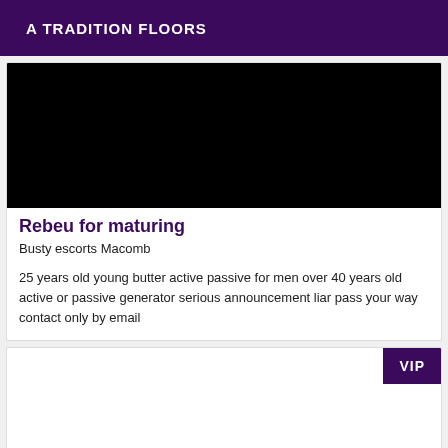A TRADITION FLOORS
[Figure (photo): Black image placeholder representing a listing photo]
Rebeu for maturing
Busty escorts Macomb
25 years old young butter active passive for men over 40 years old active or passive generator serious announcement liar pass your way contact only by email
[Figure (photo): Second listing card with VIP badge, image area is blank/white]